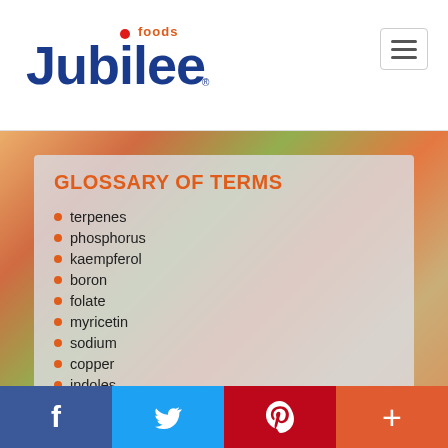[Figure (logo): Jubilee Foods logo with blue stylized text and red dot]
GLOSSARY OF TERMS
terpenes
phosphorus
kaempferol
boron
folate
myricetin
sodium
copper
indoles
zinc
view all glossary terms
[Figure (screenshot): Social media share bar with Facebook, Twitter, Pinterest, and More buttons]